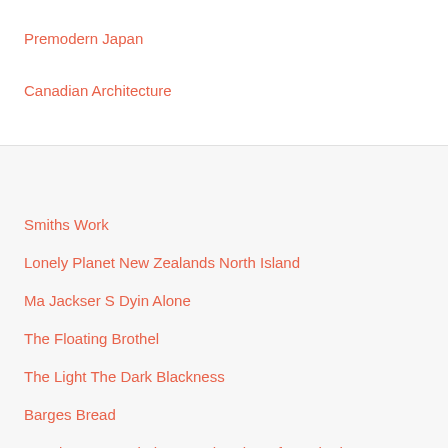Premodern Japan
Canadian Architecture
Smiths Work
Lonely Planet New Zealands North Island
Ma Jackser S Dyin Alone
The Floating Brothel
The Light The Dark Blackness
Barges Bread
Emotion Focused Therapy Theories Of Psychotherapy